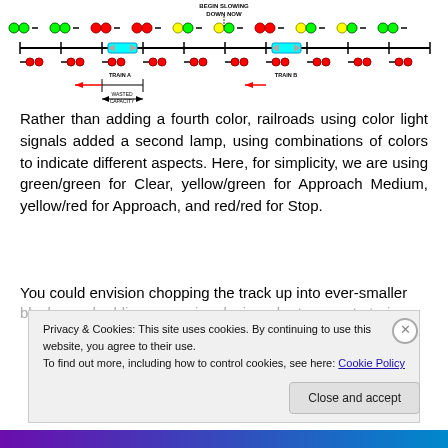[Figure (schematic): Railroad signal block diagram showing two trains (Train A and Train B) on a track with color light signals (green, yellow, red combinations) indicating different aspects. Shows 'BEGIN SLOWING DOWN NOW' label, 'WASTED CAPACITY' annotation with Train A and Train B labels and directional arrows.]
Rather than adding a fourth color, railroads using color light signals added a second lamp, using combinations of colors to indicate different aspects. Here, for simplicity, we are using green/green for Clear, yellow/green for Approach Medium, yellow/red for Approach, and red/red for Stop.
You could envision chopping the track up into ever-smaller
Privacy & Cookies: This site uses cookies. By continuing to use this website, you agree to their use.
To find out more, including how to control cookies, see here: Cookie Policy
Close and accept